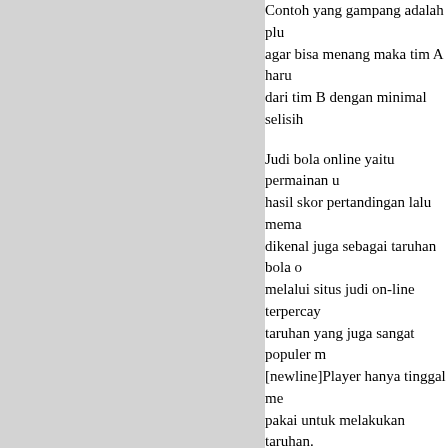Contoh yang gampang adalah plu... agar bisa menang maka tim A haru... dari tim B dengan minimal selisih ...
Judi bola online yaitu permainan u... hasil skor pertandingan lalu mema... dikenal juga sebagai taruhan bola o... melalui situs judi on-line terpercay... taruhan yang juga sangat populer m... [newline]Player hanya tinggal me... pakai untuk melakukan taruhan.
Terkait keselamatan, situs internet... dengan kebijakan privasi yang san... bahwa informasi pribadi para pema... Selain itu, terdapat pula koneksi ke... teknologi enkripsi password MD5... keamanan. Saat mengisi informatio... mengisi nomor telepon dan e mail... digunakan untuk validasi sewaktu...